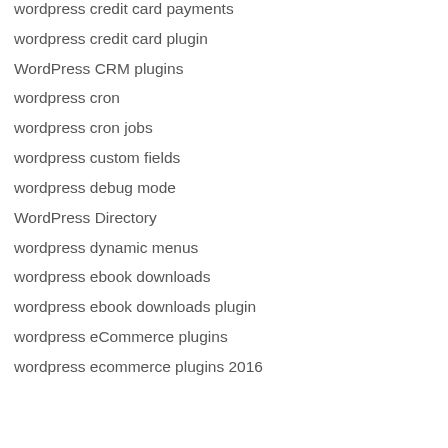wordpress credit card payments
wordpress credit card plugin
WordPress CRM plugins
wordpress cron
wordpress cron jobs
wordpress custom fields
wordpress debug mode
WordPress Directory
wordpress dynamic menus
wordpress ebook downloads
wordpress ebook downloads plugin
wordpress eCommerce plugins
wordpress ecommerce plugins 2016